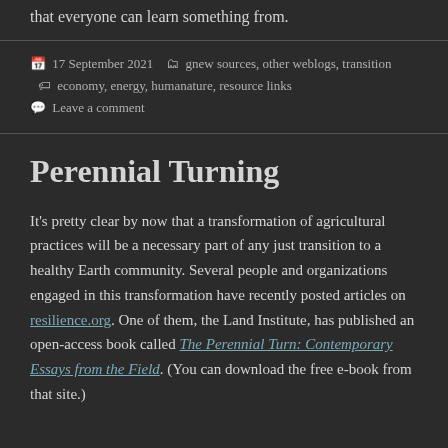that everyone can learn something from.
17 September 2021  gnew sources, other weblogs, transition  economy, energy, humanature, resource links  Leave a comment
Perennial Turning
It's pretty clear by now that a transformation of agricultural practices will be a necessary part of any just transition to a healthy Earth community. Several people and organizations engaged in this transformation have recently posted articles on resilience.org. One of them, the Land Institute, has published an open-access book called The Perennial Turn: Contemporary Essays from the Field. (You can download the free e-book from that site.)